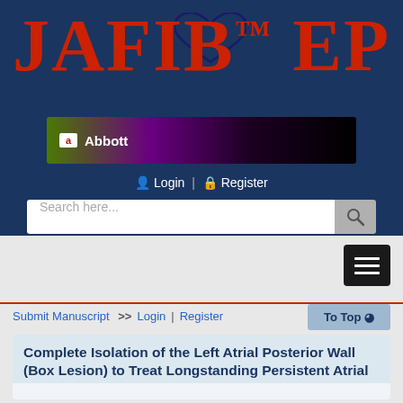[Figure (logo): JAFIB EP journal logo with red block letters and dark blue heart outline on dark blue background]
[Figure (illustration): Abbott sponsor banner with gradient purple/green/black background and white Abbott logo text]
Login | Register
[Figure (screenshot): Search bar with placeholder text 'Search here...' and grey search button icon]
[Figure (screenshot): Dark hamburger menu button with three white horizontal lines]
Submit Manuscript >> Login | Register
To Top
Complete Isolation of the Left Atrial Posterior Wall (Box Lesion) to Treat Longstanding Persistent Atrial Fibrillation